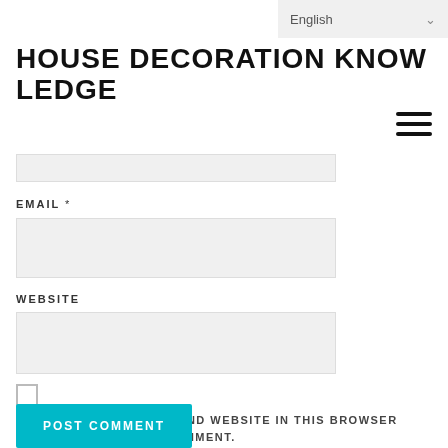English
HOUSE DECORATION KNOWLEDGE
EMAIL *
WEBSITE
SAVE MY NAME, EMAIL, AND WEBSITE IN THIS BROWSER FOR THE NEXT TIME I COMMENT.
POST COMMENT